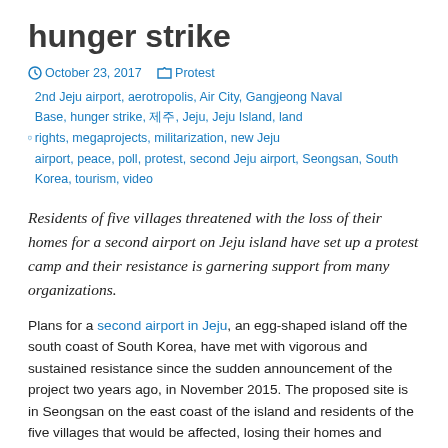hunger strike
October 23, 2017   Protest   2nd Jeju airport, aerotropolis, Air City, Gangjeong Naval Base, hunger strike, 제주, Jeju, Jeju Island, land rights, megaprojects, militarization, new Jeju airport, peace, poll, protest, second Jeju airport, Seongsan, South Korea, tourism, video
Residents of five villages threatened with the loss of their homes for a second airport on Jeju island have set up a protest camp and their resistance is garnering support from many organizations.
Plans for a second airport in Jeju, an egg-shaped island off the south coast of South Korea, have met with vigorous and sustained resistance since the sudden announcement of the project two years ago, in November 2015. The proposed site is in Seongsan on the east coast of the island and residents of the five villages that would be affected, losing their homes and farmland – Susan-ri, Sinsan-ri, Nansan-ri, Goseong-ri and Onpyeong-ri – were not even consulted. Resistance has intensified in recent weeks and on 10th October a group of residents and representatives of civic groups opposing the new airport assembled beneath a statue outside the Jeju island have